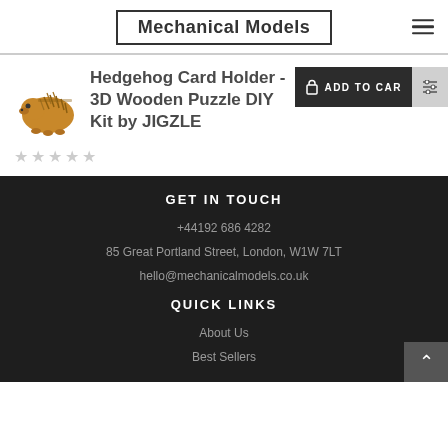Mechanical Models
Hedgehog Card Holder - 3D Wooden Puzzle DIY Kit by JIGZLE
[Figure (illustration): Small illustration of a wooden hedgehog card holder model]
GET IN TOUCH
+44192 686 4282
85 Great Portland Street, London, W1W 7LT
hello@mechanicalmodels.co.uk
QUICK LINKS
About Us
Best Sellers